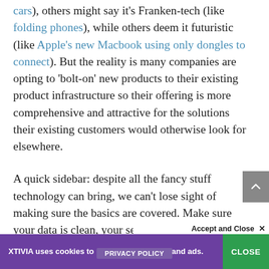cars), others might say it's Franken-tech (like folding phones), while others deem it futuristic (like Apple's new Macbook using only dongles to connect). But the reality is many companies are opting to 'bolt-on' new products to their existing product infrastructure so their offering is more comprehensive and attractive for the solutions their existing customers would otherwise look for elsewhere.
A quick sidebar: despite all the fancy stuff technology can bring, we can't lose sight of making sure the basics are covered. Make sure your data is clean, your security protocols are tight, your IT infrastructure
Accept and Close ×
XTIVIA uses cookies to personalize content and ads.
CLOSE
PRIVACY POLICY